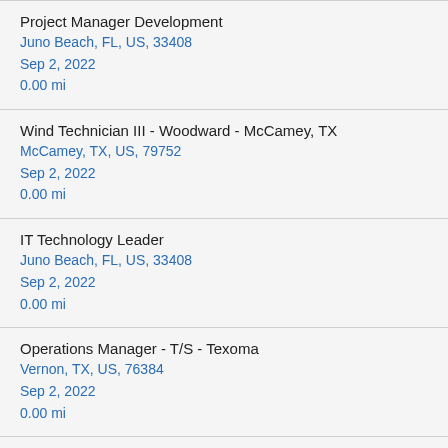Project Manager Development
Juno Beach, FL, US, 33408
Sep 2, 2022
0.00 mi
Wind Technician III - Woodward - McCamey, TX
McCamey, TX, US, 79752
Sep 2, 2022
0.00 mi
IT Technology Leader
Juno Beach, FL, US, 33408
Sep 2, 2022
0.00 mi
Operations Manager - T/S - Texoma
Vernon, TX, US, 76384
Sep 2, 2022
0.00 mi
Maint Tech - Mech Itin
Loxahatchee, FL, US, 33470
Sep 2, 2022